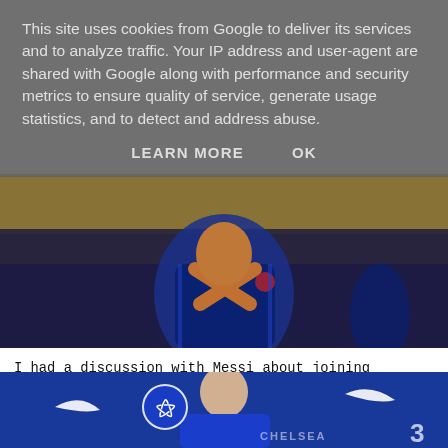This site uses cookies from Google to deliver its services and to analyze traffic. Your IP address and user-agent are shared with Google along with performance and security metrics to ensure quality of service, generate usage statistics, and to detect and address abuse.
LEARN MORE    OK
[Figure (photo): A soccer player in a blue Inter Milan jersey making a crossing arms celebration gesture, with stadium crowd visible in background]
I had a discussion with Messi about joining Barcelona - Lautaro Martinez
[Figure (photo): A man in a blue Chelsea FC jersey seated at a press conference table with Chelsea and Nike logos visible in the background]